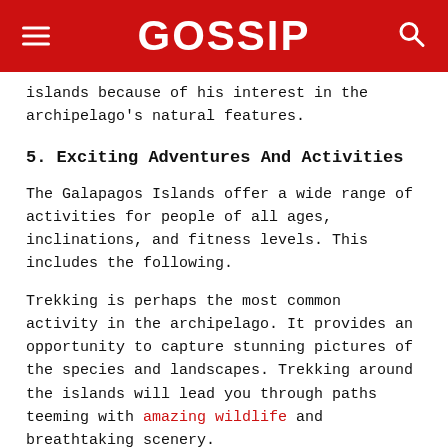GOSSIP
islands because of his interest in the archipelago's natural features.
5. Exciting Adventures And Activities
The Galapagos Islands offer a wide range of activities for people of all ages, inclinations, and fitness levels. This includes the following.
Trekking is perhaps the most common activity in the archipelago. It provides an opportunity to capture stunning pictures of the species and landscapes. Trekking around the islands will lead you through paths teeming with amazing wildlife and breathtaking scenery.
Snorkeling is included in most travelers' to-do list because it's the simplest and most economical way to view the fascinating underwater world of the Galapagos. You may see excited sea lions and penguins observing you from a boat as you approach. Dare to get into the water, and you'll be amazed by the profusion of marine life that surrounds